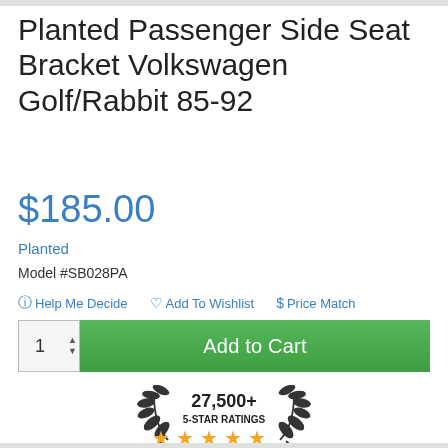Planted Passenger Side Seat Bracket Volkswagen Golf/Rabbit 85-92
$185.00
Planted
Model #SB028PA
Help Me Decide   Add To Wishlist   $ Price Match
[Figure (screenshot): Add to Cart button with quantity selector showing 1, and a green Add to Cart button]
[Figure (infographic): Award badge showing 27,500+ 5-Star Ratings with five gold stars and Shopper Approved logo, surrounded by laurel wreath]